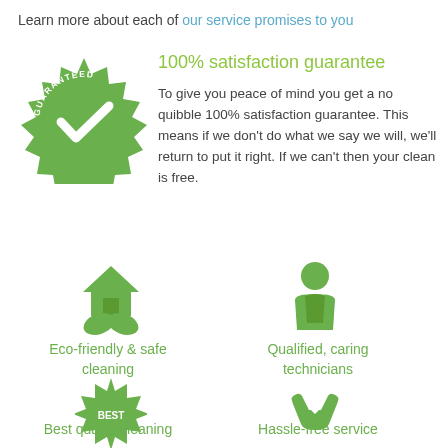Learn more about each of our service promises to you
[Figure (illustration): Green guaranteed badge with checkmark and 'GUARANTEED' text around the border]
100% satisfaction guarantee
To give you peace of mind you get a no quibble 100% satisfaction guarantee. This means if we don't do what we say we will, we'll return to put it right. If we can't then your clean is free.
[Figure (illustration): Green icon of a house with a leaf/plant beneath it]
Eco-friendly & safe cleaning
[Figure (illustration): Green icon of a person/technician]
Qualified, caring technicians
[Figure (illustration): Green starburst/badge icon with 'BEST' text]
Best quality cleaning
[Figure (illustration): Green hands/heart icon representing care]
Hassle-free service